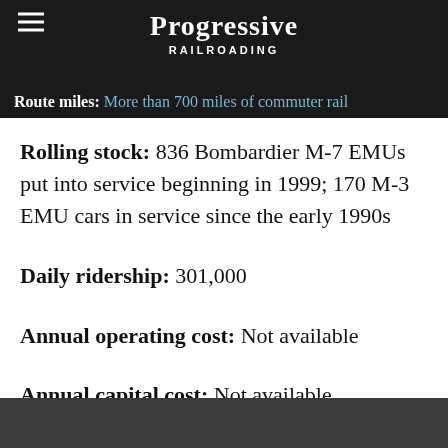Progressive Railroading
Route miles: More than 700 miles of commuter rail
Rolling stock: 836 Bombardier M-7 EMUs put into service beginning in 1999; 170 M-3 EMU cars in service since the early 1990s
Daily ridership: 301,000
Annual operating cost: Not available
Annual capital cost: Not available